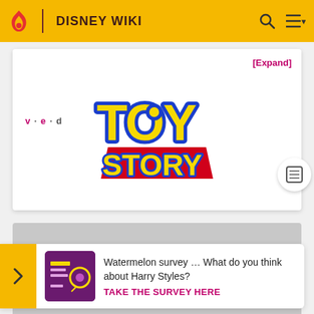DISNEY WIKI
[Expand]
v · e · d
[Figure (logo): Toy Story logo — yellow letters with blue outline on red platform, 'TOY' above 'STORY']
[Figure (other): Grey advertisement placeholder rectangle]
Watermelon survey … What do you think about Harry Styles?
TAKE THE SURVEY HERE